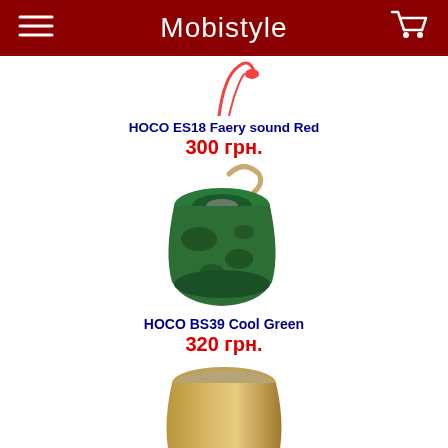Mobistyle
[Figure (photo): HOCO ES18 Faery sound Red earphones in red color, partially visible at top]
HOCO ES18 Faery sound Red
300 грн.
[Figure (photo): HOCO BS39 Cool Green bluetooth speaker in camouflage green design with tan loop strap, cylindrical shape viewed from top-side angle]
HOCO BS39 Cool Green
320 грн.
[Figure (photo): AWEI Y500 BT Gold compact gold-colored bluetooth speaker with barrel shape and mesh top]
AWEI Y500 BT Gold